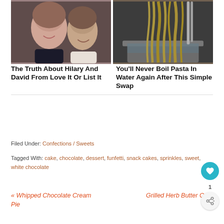[Figure (photo): A smiling woman and man photographed together, the woman in the foreground.]
[Figure (photo): Pasta noodles being lifted from a pot of boiling water.]
The Truth About Hilary And David From Love It Or List It
You'll Never Boil Pasta In Water Again After This Simple Swap
Filed Under: Confections / Sweets
Tagged With: cake, chocolate, dessert, funfetti, snack cakes, sprinkles, sweet, white chocolate
« Whipped Chocolate Cream Pie
Grilled Herb Butter Corn